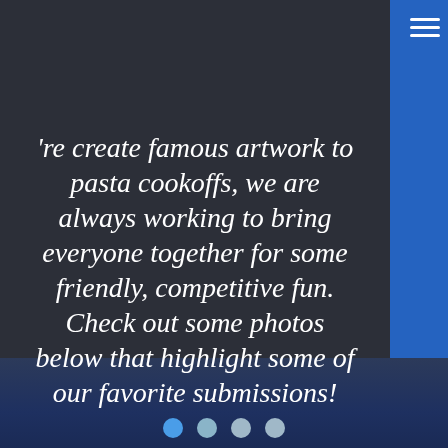[Figure (screenshot): Hamburger menu icon (three horizontal white lines) in the top-right corner of a dark website page]
're create famous artwork to pasta cookoffs, we are always working to bring everyone together for some friendly, competitive fun. Check out some photos below that highlight some of our favorite submissions!
[Figure (other): Four circular navigation dots at the bottom of the page, the first is blue and active, the remaining three are light grey/white]